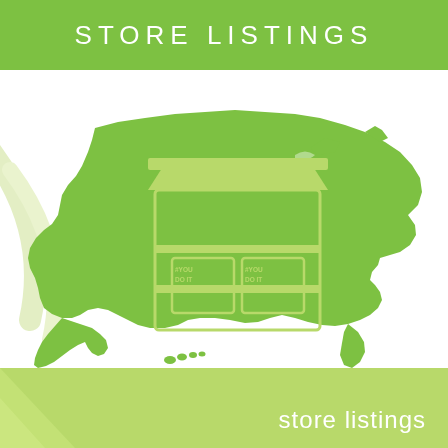STORE LISTINGS
[Figure (infographic): Green silhouette map of the United States with a green store/shop icon overlay in the central-western region. The store icon shows a storefront with two product boxes labeled #YOU DO IT SUET. Light yellow-green decorative curved lines appear on the left side background.]
store listings